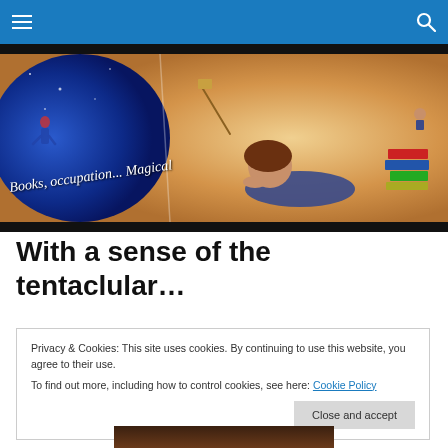Navigation bar with hamburger menu and search icon
[Figure (illustration): Blog banner illustration showing a girl reading, magical/fantasy scene with blue circle on left with figure running, cursive text 'Books, occupation... Magical', warm amber tones on right with a girl lying down reading, stacked books, and another figure reading]
With a sense of the tentaclular…
Privacy & Cookies: This site uses cookies. By continuing to use this website, you agree to their use.
To find out more, including how to control cookies, see here: Cookie Policy
Close and accept